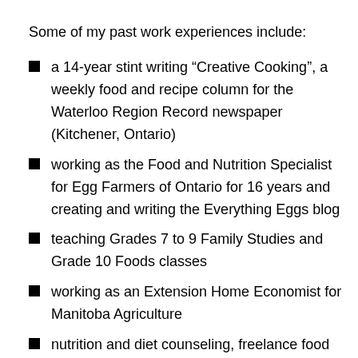Some of my past work experiences include:
a 14-year stint writing “Creative Cooking”, a weekly food and recipe column for the Waterloo Region Record newspaper (Kitchener, Ontario)
working as the Food and Nutrition Specialist for Egg Farmers of Ontario for 16 years and creating and writing the Everything Eggs blog
teaching Grades 7 to 9 Family Studies and Grade 10 Foods classes
working as an Extension Home Economist for Manitoba Agriculture
nutrition and diet counseling, freelance food writing and consulting, and restaurant reviewing
writing monthly food articles for Roomplanners magazine and weekly columns for the Southeast